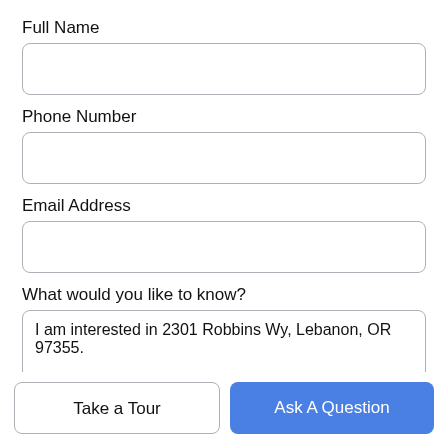Full Name
[Figure (other): Empty text input field for Full Name]
Phone Number
[Figure (other): Empty text input field for Phone Number]
Email Address
[Figure (other): Empty text input field for Email Address]
What would you like to know?
[Figure (other): Textarea with pre-filled text: I am interested in 2301 Robbins Wy, Lebanon, OR 97355.]
Take a Tour
Ask A Question